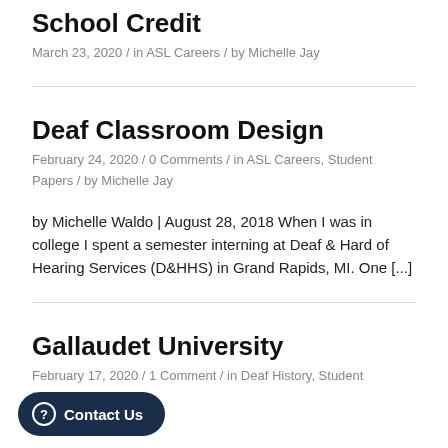School Credit
March 23, 2020 / in ASL Careers / by Michelle Jay
Deaf Classroom Design
February 24, 2020 / 0 Comments / in ASL Careers, Student Papers / by Michelle Jay
by Michelle Waldo | August 28, 2018 When I was in college I spent a semester interning at Deaf & Hard of Hearing Services (D&HHS) in Grand Rapids, MI. One [...]
Gallaudet University
February 17, 2020 / 1 Comment / in Deaf History, Student
helle Jay